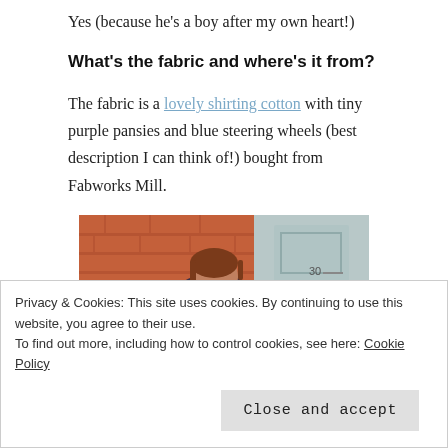Yes (because he's a boy after my own heart!)
What's the fabric and where's it from?
The fabric is a lovely shirting cotton with tiny purple pansies and blue steering wheels (best description I can think of!) bought from Fabworks Mill.
[Figure (photo): A man with reddish-brown hair and beard wearing a dark patterned shirt, arms outstretched, standing in front of a brick wall and a light blue door with the number 30.]
Privacy & Cookies: This site uses cookies. By continuing to use this website, you agree to their use.
To find out more, including how to control cookies, see here: Cookie Policy
Close and accept